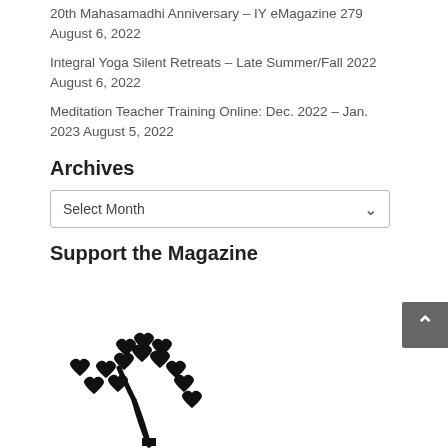20th Mahasamadhi Anniversary – IY eMagazine 279
August 6, 2022
Integral Yoga Silent Retreats – Late Summer/Fall 2022
August 6, 2022
Meditation Teacher Training Online: Dec. 2022 – Jan. 2023 August 5, 2022
Archives
Select Month
Support the Magazine
[Figure (illustration): Black silhouette illustration of a tree made of heart shapes, with a curved trunk and many heart-shaped leaves/blossoms at the top]